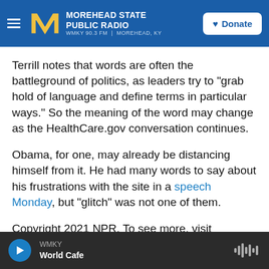Morehead State Public Radio — WMKY 90.3 FM | Morehead, KY
Terrill notes that words are often the battleground of politics, as leaders try to "grab hold of language and define terms in particular ways." So the meaning of the word may change as the HealthCare.gov conversation continues.
Obama, for one, may already be distancing himself from it. He had many words to say about his frustrations with the site in a speech Monday, but "glitch" was not one of them.
Copyright 2021 NPR. To see more, visit
WMKY — World Cafe